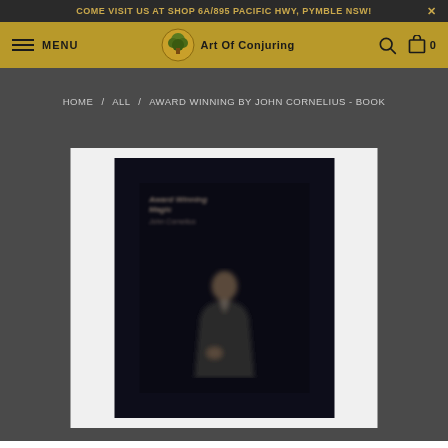COME VISIT US AT SHOP 6A/895 PACIFIC HWY, PYMBLE NSW!
MENU | Art Of Conjuring
HOME / ALL / AWARD WINNING BY JOHN CORNELIUS - BOOK
[Figure (photo): Book cover of 'Award Winning by John Cornelius' showing a blurred dark cover with a person in a suit on the front, displayed on a white background product panel]